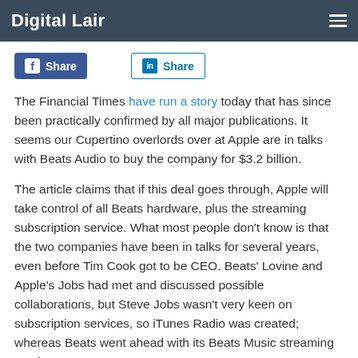Digital Lair
The Financial Times have run a story today that has since been practically confirmed by all major publications. It seems our Cupertino overlords over at Apple are in talks with Beats Audio to buy the company for $3.2 billion.
The article claims that if this deal goes through, Apple will take control of all Beats hardware, plus the streaming subscription service. What most people don't know is that the two companies have been in talks for several years, even before Tim Cook got to be CEO. Beats' Lovine and Apple's Jobs had met and discussed possible collaborations, but Steve Jobs wasn't very keen on subscription services, so iTunes Radio was created; whereas Beats went ahead with its Beats Music streaming service.
But now Apple wants in on the subscription streaming business, where powerhouses like Pandora and Spotify already compete